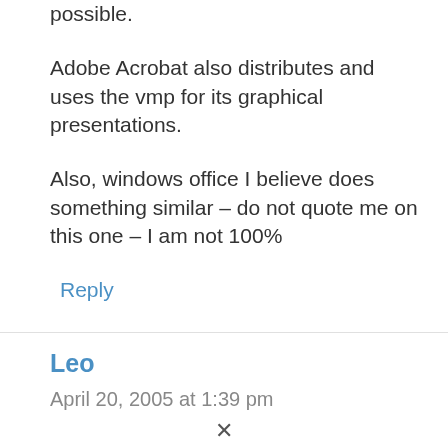possible.
Adobe Acrobat also distributes and uses the vmp for its graphical presentations.
Also, windows office I believe does something similar – do not quote me on this one – I am not 100%
Reply
Leo
April 20, 2005 at 1:39 pm